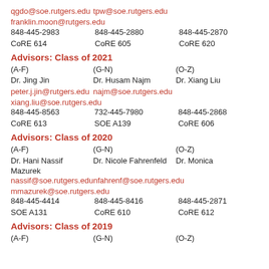qgdo@soe.rutgers.edu   tpw@soe.rutgers.edu
franklin.moon@rutgers.edu
848-445-2983    848-445-2880    848-445-2870
CoRE 614    CoRE 605    CoRE 620
Advisors: Class of 2021
(A-F)    (G-N)    (O-Z)
Dr. Jing Jin    Dr. Husam Najm    Dr. Xiang Liu
peter.j.jin@rutgers.edu    najm@soe.rutgers.edu
xiang.liu@soe.rutgers.edu
848-445-8563    732-445-7980    848-445-2868
CoRE 613    SOE A139    CoRE 606
Advisors: Class of 2020
(A-F)    (G-N)    (O-Z)
Dr. Hani Nassif    Dr. Nicole Fahrenfeld    Dr. Monica Mazurek
nassif@soe.rutgers.edu    nfahrenf@soe.rutgers.edu
mmazurek@soe.rutgers.edu
848-445-4414    848-445-8416    848-445-2871
SOE A131    CoRE 610    CoRE 612
Advisors: Class of 2019
(A-F)    (G-N)    (O-Z)